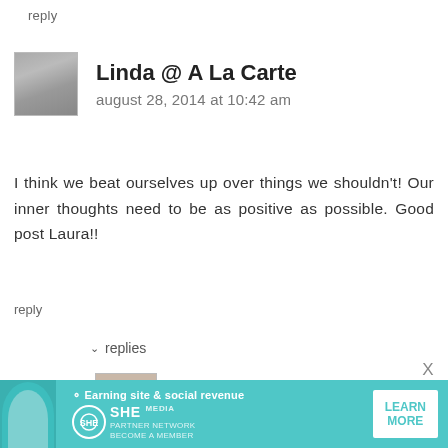reply
Linda @ A La Carte
august 28, 2014 at 10:42 am
I think we beat ourselves up over things we shouldn't! Our inner thoughts need to be as positive as possible. Good post Laura!!
reply
▾ replies
[Figure (photo): Avatar photo of Simple and Serene Living author]
SImple and Serene Living
august 29, 2014 at 7:48 am
[Figure (infographic): Advertisement banner: Earning site & social revenue, SHE Media Partner Network, Become a Member, Learn More button]